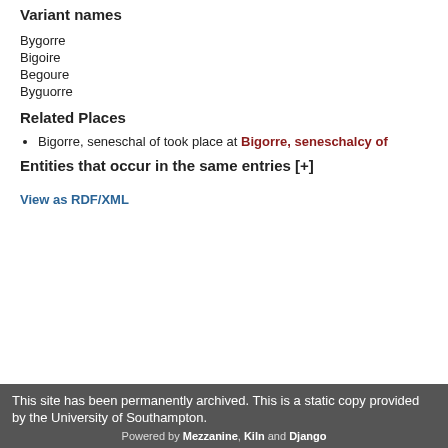Variant names
Bygorre
Bigoire
Begoure
Byguorre
Related Places
Bigorre, seneschal of took place at Bigorre, seneschalcy of
Entities that occur in the same entries [+]
View as RDF/XML
This site has been permanently archived. This is a static copy provided by the University of Southampton. Powered by Mezzanine, Kiln and Django